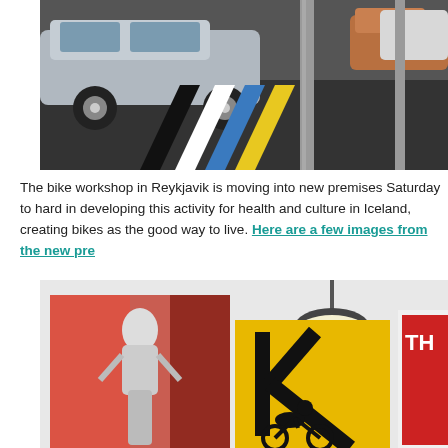[Figure (photo): Street-level photo showing cars parked on a road with colorful chevron markings (yellow, blue, white, black) painted on the asphalt, and a metal pole in the foreground.]
The bike workshop in Reykjavik is moving into new premises Saturday to hard in developing this activity for health and culture in Iceland, creating bikes as the good way to live. Here are a few images from the new pre
[Figure (photo): Interior photo of a bike workshop/cafe space showing cycling-themed artwork on the walls: a black-and-white poster of a cyclist on the left, a large yellow sign with a black letter K and a cyclist silhouette in the center, and a partially visible framed poster on the right. A pendant lamp hangs from the ceiling.]